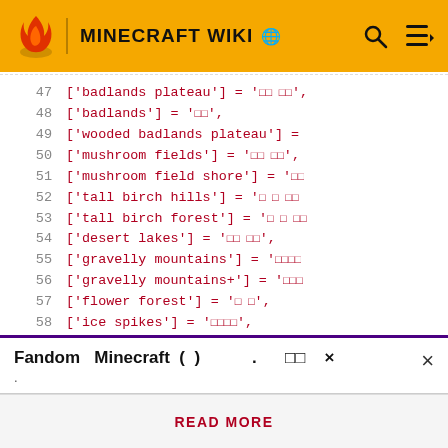MINECRAFT WIKI
[Figure (screenshot): Code block showing Minecraft biome name mappings, lines 47-60, with line numbers on left and monospace red code on white background]
Fandom Minecraft (  )  .  □□  ×
.
READ MORE